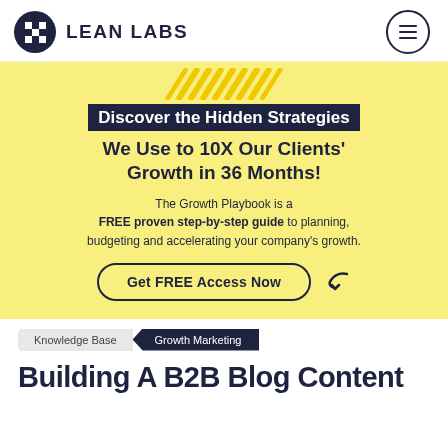[Figure (logo): Lean Labs logo: dark circle with checkered flag icon, text LEAN LABS in bold uppercase, hamburger menu icon on right]
[Figure (infographic): Yellow promotional banner with diagonal stripe decoration, dark headline box 'Discover the Hidden Strategies', subheadline 'We Use to 10X Our Clients' Growth in 36 Months!', body text about Growth Playbook, and CTA button 'Get FREE Access Now']
Knowledge Base
Growth Marketing
Building A B2B Blog Content